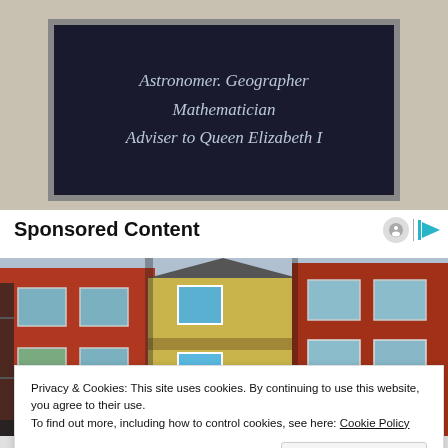[Figure (photo): A dark blue/black memorial plaque with italic text reading 'Astronomer. Geographer Mathematician Adviser to Queen Elizabeth I', mounted on a light beige/tan wall surface.]
Sponsored Content
[Figure (photo): A row of red brick brownstone buildings with a central yellow/beige wooden house, showing fire escapes, windows, and flower boxes. Urban street scene.]
Privacy & Cookies: This site uses cookies. By continuing to use this website, you agree to their use.
To find out more, including how to control cookies, see here: Cookie Policy
Close and accept